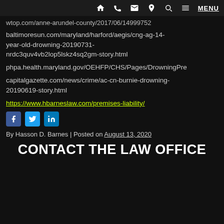Navigation bar with home, phone, email, location, search, menu icons and MENU link
wtop.com/anne-arundel-county/2017/06/14999752
baltimoresun.com/maryland/harford/aegis/cng-ag-14-year-old-drowning-20190731-nrdc3quv4vb2lop5lskz4sq2gm-story.html
phpa.health.maryland.gov/OEHFP/CHS/Pages/DrowningPre
capitalgazette.com/news/crime/ac-cn-burnie-drowning-20190619-story.html
https://www.hbarneslaw.com/premises-liability/
[Figure (other): Social media share icons: Facebook (blue), Twitter (light blue), LinkedIn (blue)]
By Hasson D. Barnes | Posted on August 13, 2020
CONTACT THE LAW OFFICE